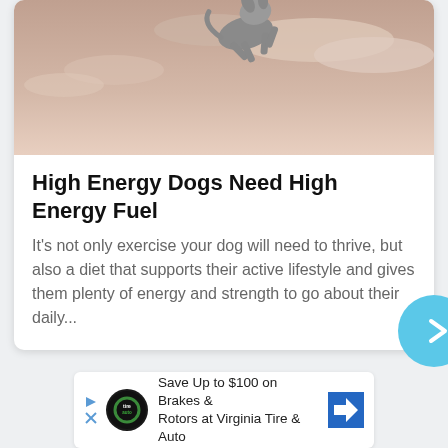[Figure (photo): A dog leaping in the air against a sky background with pink/peach clouds]
High Energy Dogs Need High Energy Fuel
It's not only exercise your dog will need to thrive, but also a diet that supports their active lifestyle and gives them plenty of energy and strength to go about their daily...
[Figure (infographic): Navigation arrow button (right chevron) in light blue circle on the right side]
[Figure (screenshot): Advertisement banner: Save Up to $100 on Brakes & Rotors at Virginia Tire & Auto]